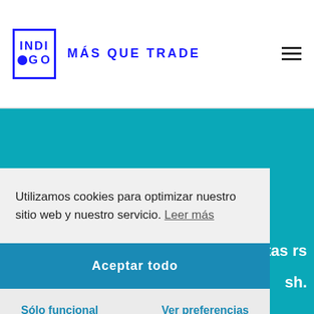[Figure (logo): Indigo brand logo with box containing INDI on top and GO with blue circle below, and tagline MÁS QUE TRADE in blue to the right]
Utilizamos cookies para optimizar nuestro sitio web y nuestro servicio. Leer más
Aceptar todo
Sólo funcional
Ver preferencias
stas rs
sh.